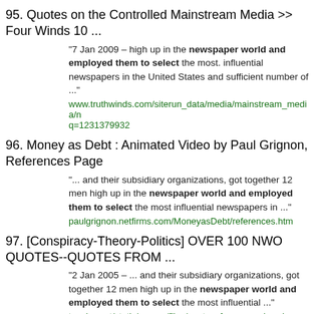95. Quotes on the Controlled Mainstream Media >> Four Winds 10 ...
"7 Jan 2009 – high up in the newspaper world and employed them to select the most. influential newspapers in the United States and sufficient number of ..."
www.truthwinds.com/siterun_data/media/mainstream_media/n q=1231379932
96. Money as Debt : Animated Video by Paul Grignon, References Page
"... and their subsidiary organizations, got together 12 men high up in the newspaper world and employed them to select the most influential newspapers in ..."
paulgrignon.netfirms.com/MoneyasDebt/references.htm
97. [Conspiracy-Theory-Politics] OVER 100 NWO QUOTES--QUOTES FROM ...
"2 Jan 2005 – ... and their subsidiary organizations, got together 12 men high up in the newspaper world and employed them to select the most influential ..."
twoday.net/static/omega/files/quotes_from_people_who_consid
98. New World Order Quotes 1910-19